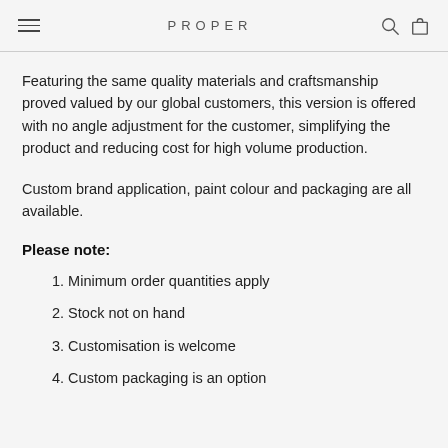PROPER
Featuring the same quality materials and craftsmanship proved valued by our global customers, this version is offered with no angle adjustment for the customer, simplifying the product and reducing cost for high volume production.
Custom brand application, paint colour and packaging are all available.
Please note:
1. Minimum order quantities apply
2. Stock not on hand
3. Customisation is welcome
4. Custom packaging is an option